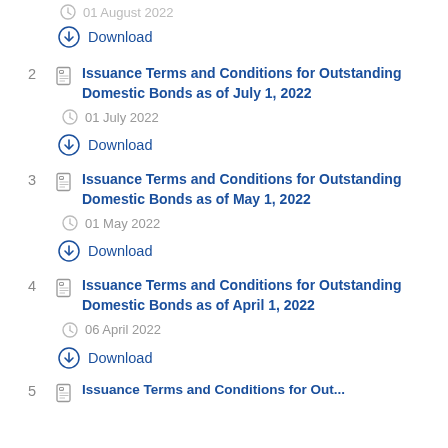01 August 2022
Download
2  Issuance Terms and Conditions for Outstanding Domestic Bonds as of July 1, 2022
01 July 2022
Download
3  Issuance Terms and Conditions for Outstanding Domestic Bonds as of May 1, 2022
01 May 2022
Download
4  Issuance Terms and Conditions for Outstanding Domestic Bonds as of April 1, 2022
06 April 2022
Download
5  Issuance Terms and Conditions for Outstanding...